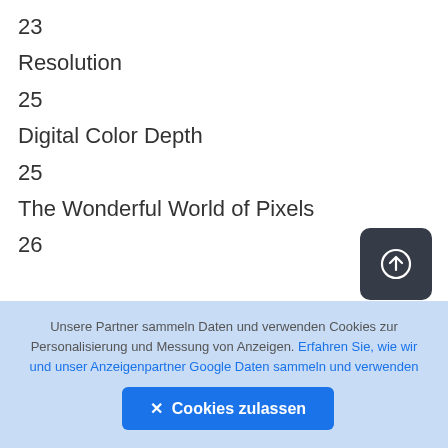23
Resolution
25
Digital Color Depth
25
The Wonderful World of Pixels
26
[Figure (other): Dark rounded square button with an upload/share icon (circle with upward arrow)]
Unsere Partner sammeln Daten und verwenden Cookies zur Personalisierung und Messung von Anzeigen. Erfahren Sie, wie wir und unser Anzeigenpartner Google Daten sammeln und verwenden
✕ Cookies zulassen